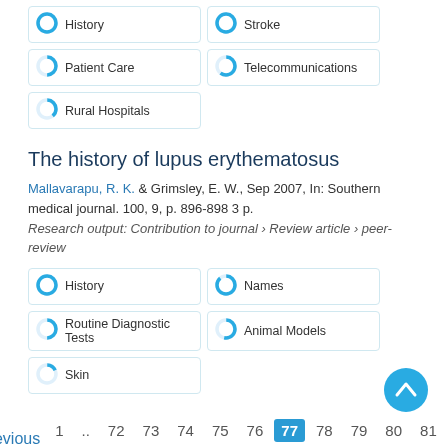History
Stroke
Patient Care
Telecommunications
Rural Hospitals
The history of lupus erythematosus
Mallavarapu, R. K. & Grimsley, E. W., Sep 2007, In: Southern medical journal. 100, 9, p. 896-898 3 p.
Research output: Contribution to journal › Review article › peer-review
History
Names
Routine Diagnostic Tests
Animal Models
Skin
‹ Previous  1 .. 72 73 74 75 76  77  78 79 80 81 ..